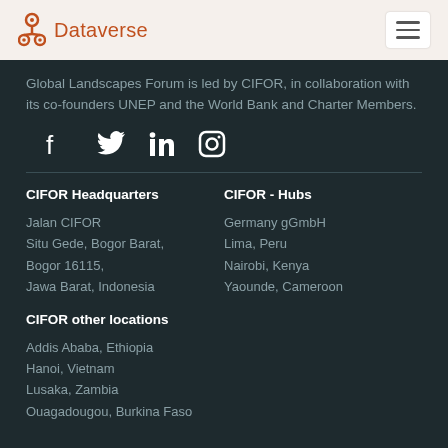Dataverse
Global Landscapes Forum is led by CIFOR, in collaboration with its co-founders UNEP and the World Bank and Charter Members.
[Figure (other): Social media icons: Facebook, Twitter, LinkedIn, Instagram]
CIFOR Headquarters
Jalan CIFOR
Situ Gede, Bogor Barat,
Bogor 16115,
Jawa Barat, Indonesia
CIFOR - Hubs
Germany gGmbH
Lima, Peru
Nairobi, Kenya
Yaounde, Cameroon
CIFOR other locations
Addis Ababa, Ethiopia
Hanoi, Vietnam
Lusaka, Zambia
Ouagadougou, Burkina Faso